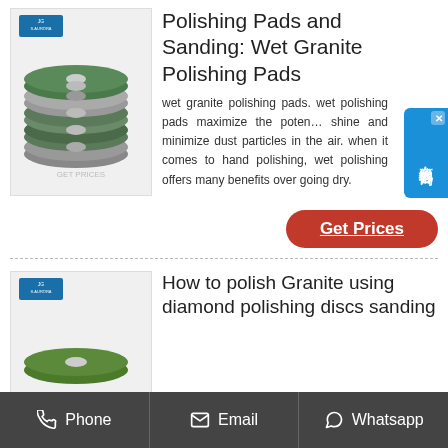[Figure (photo): Stack of green and grey diamond polishing/cutting discs with S.Aurora branding]
Polishing Pads and Sanding: Wet Granite Polishing Pads
wet granite polishing pads. wet polishing pads maximize the potential shine and minimize dust particles in the air. when it comes to hand polishing, wet polishing offers many benefits over going dry.
Get Prices
[Figure (photo): S.Aurora branded diamond polishing disc product with green pad]
How to polish Granite using diamond polishing discs sanding
to finish polishing the granite table top will eventually complete the task at
Phone   Email   Whatsapp